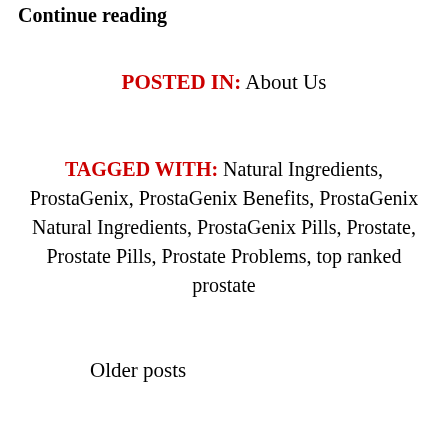Continue reading
POSTED IN:  About Us
TAGGED WITH:  Natural Ingredients, ProstaGenix, ProstaGenix Benefits, ProstaGenix Natural Ingredients, ProstaGenix Pills, Prostate, Prostate Pills, Prostate Problems, top ranked prostate
Older posts